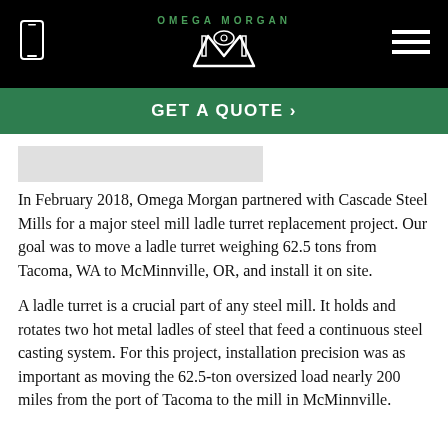OMEGA MORGAN
GET A QUOTE >
[Figure (other): Gray image placeholder block]
In February 2018, Omega Morgan partnered with Cascade Steel Mills for a major steel mill ladle turret replacement project. Our goal was to move a ladle turret weighing 62.5 tons from Tacoma, WA to McMinnville, OR, and install it on site.
A ladle turret is a crucial part of any steel mill. It holds and rotates two hot metal ladles of steel that feed a continuous steel casting system. For this project, installation precision was as important as moving the 62.5-ton oversized load nearly 200 miles from the port of Tacoma to the mill in McMinnville.